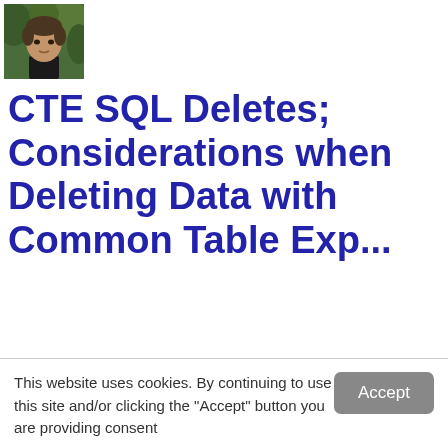[Figure (photo): Profile photo of a young man with dark hair, against a green background]
CTE SQL Deletes; Considerations when Deleting Data with Common Table Expressions in SQL S...
This website uses cookies. By continuing to use this site and/or clicking the "Accept" button you are providing consent
Quest Software and its affiliates do NOT sell the Personal Data you provide to us either when you register on our websites or when you do business with us. For more information about our Privacy Policy and our data protection efforts, please visit GDPR-HQ